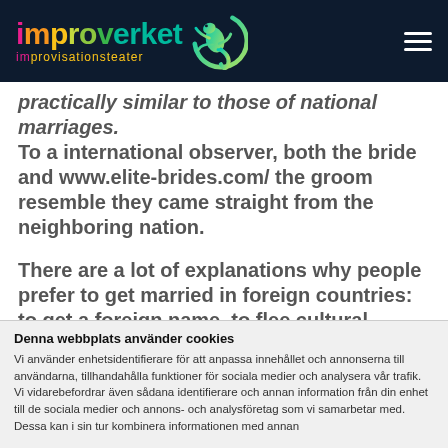improverket improvisationsteater
practically similar to those of national marriages. To a international observer, both the bride and www.elite-brides.com/ the groom resemble they came straight from the neighboring nation.
There are a lot of explanations why people prefer to get married in foreign countries: to get a foreign name, to flee cultural boundaries, to have
Denna webbplats använder cookies
Vi använder enhetsidentifierare för att anpassa innehållet och annonserna till användarna, tillhandahålla funktioner för sociala medier och analysera vår trafik. Vi vidarebefordrar även sådana identifierare och annan information från din enhet till de sociala medier och annons- och analysföretag som vi samarbetar med. Dessa kan i sin tur kombinera informationen med annan